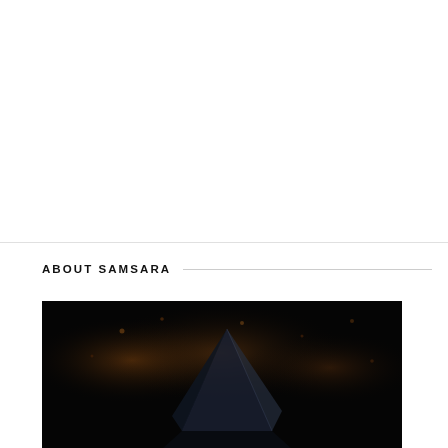ABOUT SAMSARA
[Figure (photo): Dark photograph with a faint geometric pyramid or angular shape visible against a black background with warm orange/amber glowing bokeh lights]